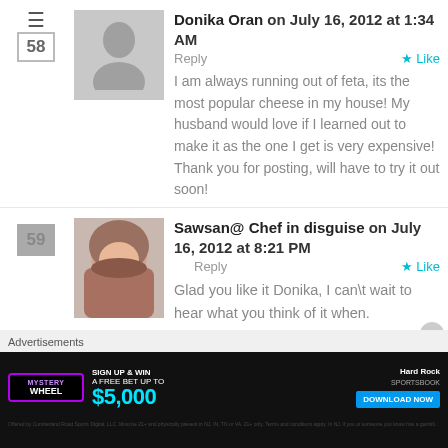Donika Oran on July 16, 2012 at 1:34 AM — Reply — Like
I am always running out of feta, its the most popular cheese in my house! My husband would love if I learned out to make it as the one I get is very expensive! Thank you for posting, will have to try it out soon!
Sawsan@ Chef in disguise on July 16, 2012 at 8:21 PM — Reply — Like
Glad you like it Donika, I can\t wait to hear what you think of it when.
Advertisements
[Figure (screenshot): Hard Rock Sportsbook advertisement banner with Mystery Wheel promotion, sign up and win a free bet up to $5,000, Download Now button]